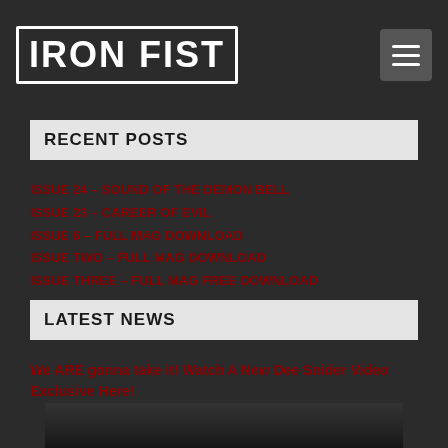IRON FIST
RECENT POSTS
ISSUE 24 – SOUND OF THE DEMON BELL
Issue 23 – Career of Evil
Issue 6 – Full Mag Download
ISSUE TWO – FULL MAG DOWNLOAD
ISSUE THREE – FULL MAG FREE DOWNLOAD
LATEST NEWS
We ARE gonna take it! Watch A New Dee Snider Video Exclusive Here!
[Figure (photo): Photo of Dee Snider, long white/grey hair, performing on stage against dark background]